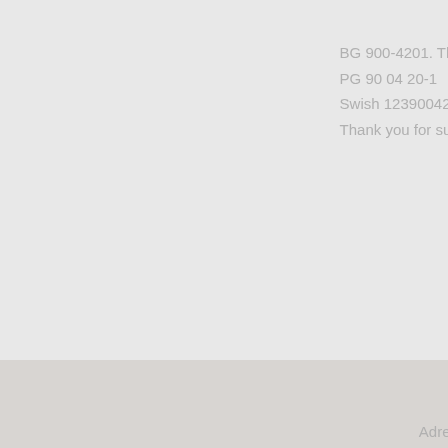BG 900-4201. The
PG 90 04 20-1
Swish 1239004201
Thank you for supp
Adres